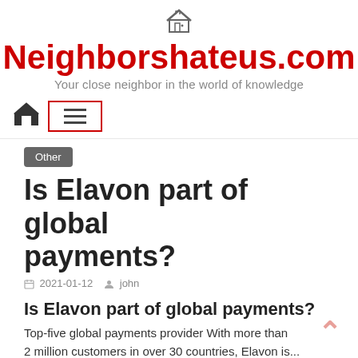Neighborshateus.com
Your close neighbor in the world of knowledge
[Figure (illustration): Small house icon at the top center]
[Figure (illustration): Home icon and hamburger menu button with red border]
Other
Is Elavon part of global payments?
2021-01-12   john
Is Elavon part of global payments?
Top-five global payments provider With more than 2 million customers in over 30 countries, Elavon is...